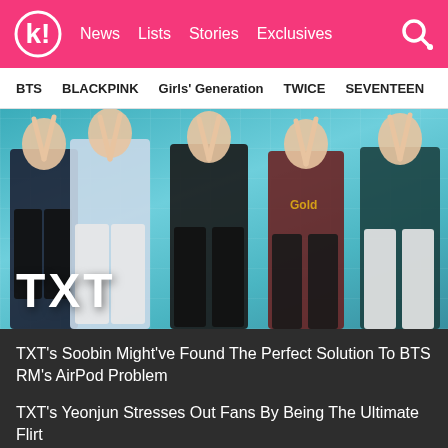k! | News  Lists  Stories  Exclusives
BTS  BLACKPINK  Girls' Generation  TWICE  SEVENTEEN
[Figure (photo): Group photo of TXT (Tomorrow X Together) K-pop group, five members posing in casual streetwear in front of a tiled turquoise wall. Large white text 'TXT' overlaid in the bottom-left corner.]
TXT's Soobin Might've Found The Perfect Solution To BTS RM's AirPod Problem
TXT's Yeonjun Stresses Out Fans By Being The Ultimate Flirt
The Technique TXT Yeonjun's Mom Used To Make His Legs Long